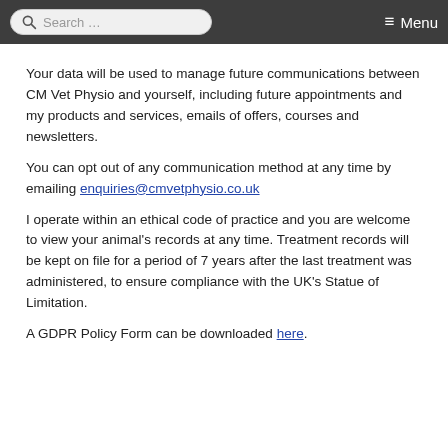Search ... Menu
Your data will be used to manage future communications between CM Vet Physio and yourself, including future appointments and my products and services, emails of offers, courses and newsletters.
You can opt out of any communication method at any time by emailing enquiries@cmvetphysio.co.uk
I operate within an ethical code of practice and you are welcome to view your animal's records at any time. Treatment records will be kept on file for a period of 7 years after the last treatment was administered, to ensure compliance with the UK's Statue of Limitation.
A GDPR Policy Form can be downloaded here.